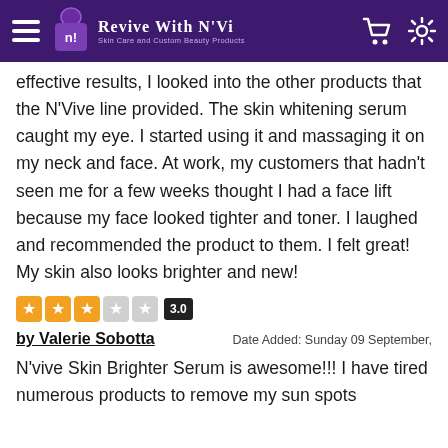Revive With N'Vi — Skin Care and Custom Beauty Products
effective results, I looked into the other products that the N'Vive line provided. The skin whitening serum caught my eye. I started using it and massaging it on my neck and face. At work, my customers that hadn't seen me for a few weeks thought I had a face lift because my face looked tighter and toner. I laughed and recommended the product to them. I felt great! My skin also looks brighter and new!
[Figure (other): Star rating display showing 3.0 out of 5 stars: three filled orange stars, two empty grey stars, and a black badge showing '3.0']
by Valerie Sobotta      Date Added: Sunday 09 September,
N'vive Skin Brighter Serum is awesome!!! I have tired numerous products to remove my sun spots